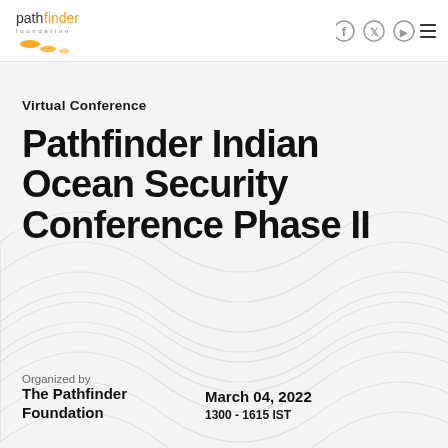pathfinder foundation logo with Facebook, Twitter, YouTube icons and menu
Virtual Conference
Pathfinder Indian Ocean Security Conference Phase II
Organized by
The Pathfinder Foundation
March 04, 2022
1300 - 1615 IST